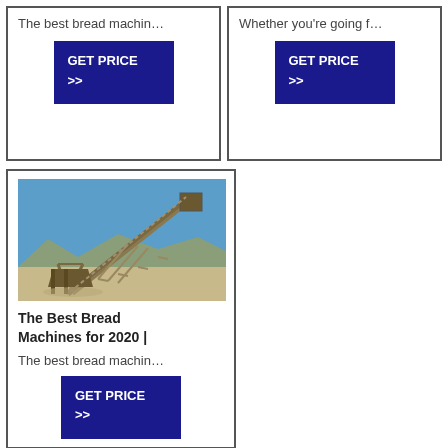The best bread machin…
GET PRICE >>
Whether you're going f…
GET PRICE >>
[Figure (photo): Industrial conveyor/crusher machine outdoors against blue sky]
The Best Bread Machines for 2020 |
The best bread machin…
GET PRICE >>